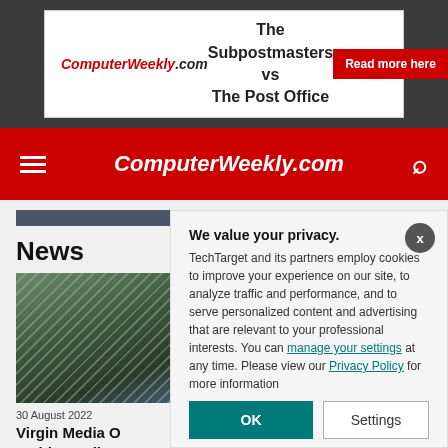[Figure (screenshot): ComputerWeekly.com advertisement banner: 'The Subpostmasters vs The Post Office' with red 'Read more here' button]
ComputerWeekly.com navigation bar with hamburger menu and search icon
News
[Figure (photo): Landscape photo showing hills and water, partially covered by hatching overlay]
30 August 2022
Virgin Media O multi-supplier c
We value your privacy.
TechTarget and its partners employ cookies to improve your experience on our site, to analyze traffic and performance, and to serve personalized content and advertising that are relevant to your professional interests. You can manage your settings at any time. Please view our Privacy Policy for more information
OK
Settings